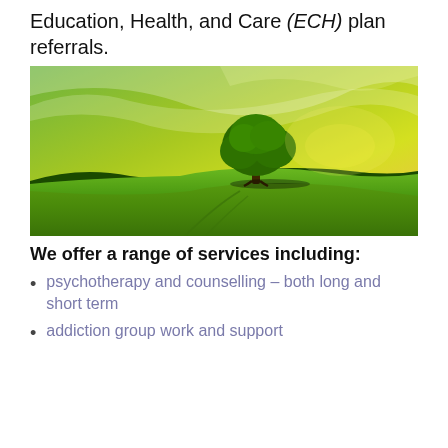Education, Health, and Care (ECH) plan referrals.
[Figure (photo): A lone tree standing in a green field under a dramatic green-tinted sky with clouds.]
We offer a range of services including:
psychotherapy and counselling – both long and short term
addiction group work and support